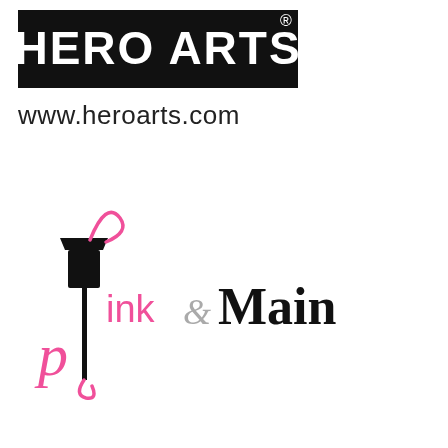[Figure (logo): Hero Arts logo: black rectangle with white bold text HERO ARTS and a registered trademark symbol]
www.heroarts.com
[Figure (logo): Pink and Main logo: a black street lamp silhouette with a pink cursive letter P forming the base, the word 'pink' in pink, '&' in gray, and 'Main' in large black serif text]